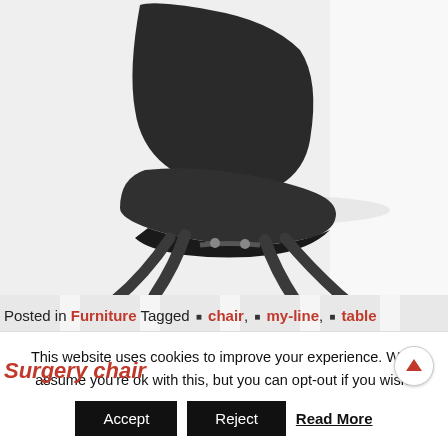[Figure (photo): Black upholstered chair with curved dark metal legs, shown from a slightly elevated angle against a white/light gray background. Only the lower portion including seat and legs is visible.]
Posted in Furniture Tagged ■ chair, ■ my-line, ■ table
Surgery chair
This website uses cookies to improve your experience. We'll assume you're ok with this, but you can opt-out if you wish.
Accept  Reject  Read More